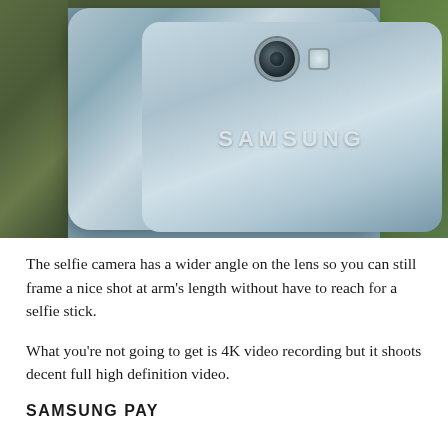[Figure (photo): Back of a Samsung smartphone showing the rear camera module with lens and flash, with the Samsung logo visible on the back glass panel. Background is blurred green/outdoor scene.]
The selfie camera has a wider angle on the lens so you can still frame a nice shot at arm's length without have to reach for a selfie stick.
What you're not going to get is 4K video recording but it shoots decent full high definition video.
SAMSUNG PAY